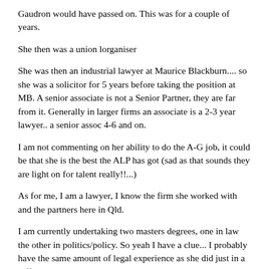Gaudron would have passed on. This was for a couple of years.
She then was a union lorganiser
She was then an industrial lawyer at Maurice Blackburn.... so she was a solicitor for 5 years before taking the position at MB. A senior associate is not a Senior Partner, they are far from it. Generally in larger firms an associate is a 2-3 year lawyer.. a senior assoc 4-6 and on.
I am not commenting on her ability to do the A-G job, it could be that she is the best the ALP has got (sad as that sounds they are light on for talent really!!...)
As for me, I am a lawyer, I know the firm she worked with and the partners here in Qld.
I am currently undertaking two masters degrees, one in law the other in politics/policy. So yeah I have a clue... I probably have the same amount of legal experience as she did just in a different area.